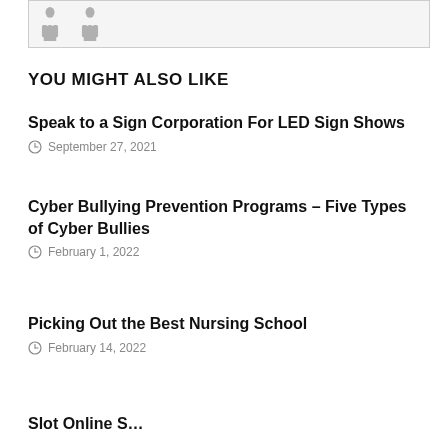[Figure (illustration): Partial view of two human silhouette figures (gray), cut off at the top, inside a bordered image frame]
YOU MIGHT ALSO LIKE
Speak to a Sign Corporation For LED Sign Shows
September 27, 2021
Cyber Bullying Prevention Programs – Five Types of Cyber Bullies
February 1, 2022
Picking Out the Best Nursing School
February 14, 2022
Slot Online S…